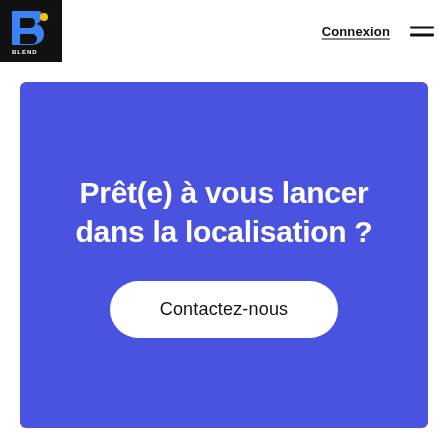[Figure (logo): Blend logo: blue 'B' with yellow dot and 'BLEND' text on black square background]
Connexion ≡
Prêt(e) à vous lancer dans la localisation ?
Contactez-nous